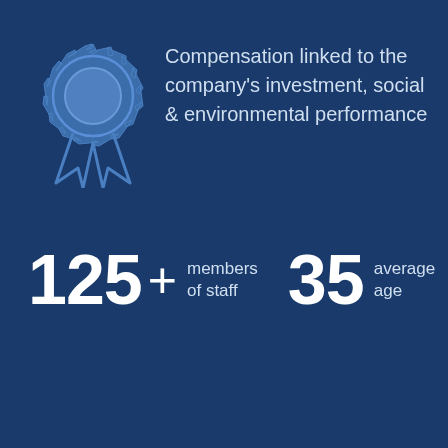[Figure (illustration): Award ribbon / medal icon in light blue outline style on dark blue background]
Compensation linked to the company's investment, social & environmental performance
125 + members of staff   35 average age